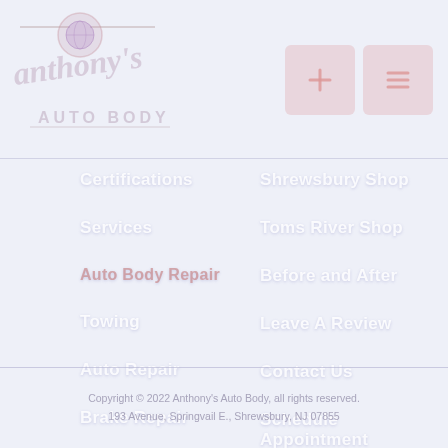[Figure (logo): Anthony's Auto Body logo with circular emblem and stylized handwritten text]
[Figure (other): Red/pink icon box with plus sign (schedule appointment icon)]
[Figure (other): Red/pink icon box with menu lines (navigation menu icon)]
Certifications
Services
Towing
Auto Repair
Brake Repair
Shrewsbury Shop
Toms River Shop
Before and After
Leave A Review
Contact Us
Schedule Appointment
Copyright © 2022 Anthony's Auto Body, all rights reserved.
193 Avenue, Springvail E., Shrewsbury, NJ 07855